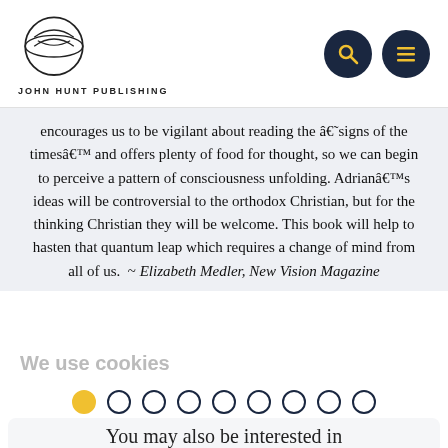JOHN HUNT PUBLISHING
encourages us to be vigilant about reading the â€˜signs of the timesâ€™ and offers plenty of food for thought, so we can begin to perceive a pattern of consciousness unfolding. Adrianâ€™s ideas will be controversial to the orthodox Christian, but for the thinking Christian they will be welcome. This book will help to hasten that quantum leap which requires a change of mind from all of us.  ~ Elizabeth Medler, New Vision Magazine
We use cookies
[Figure (other): Carousel pagination dots, 9 dots total, first is filled yellow/gold, rest are empty dark circles]
You may also be interested in
[Figure (photo): Book cover - BOULTON, orange/sunset gradient]
[Figure (photo): Book cover - Quakers, collage of colorful images]
[Figure (photo): Book cover - Quaker Quicks, dark with silhouette]